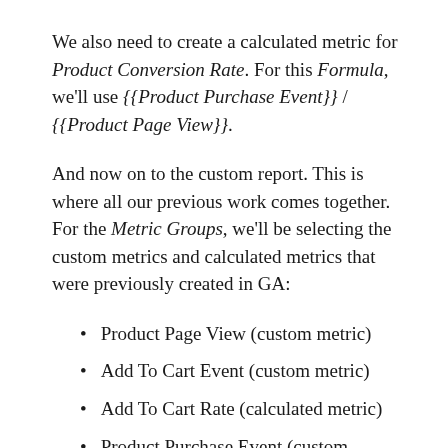We also need to create a calculated metric for Product Conversion Rate. For this Formula, we'll use {{Product Purchase Event}} / {{Product Page View}}.
And now on to the custom report. This is where all our previous work comes together. For the Metric Groups, we'll be selecting the custom metrics and calculated metrics that were previously created in GA:
Product Page View (custom metric)
Add To Cart Event (custom metric)
Add To Cart Rate (calculated metric)
Product Purchase Event (custom metric)